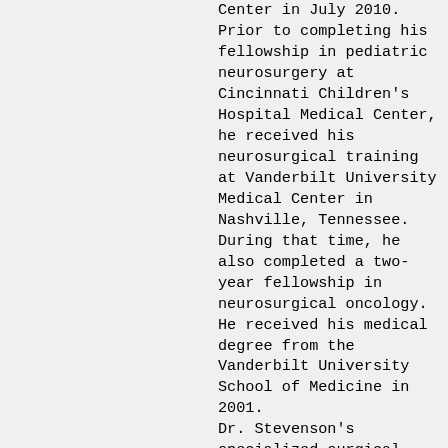Center in July 2010. Prior to completing his fellowship in pediatric neurosurgery at Cincinnati Children's Hospital Medical Center, he received his neurosurgical training at Vanderbilt University Medical Center in Nashville, Tennessee. During that time, he also completed a two-year fellowship in neurosurgical oncology. He received his medical degree from the Vanderbilt University School of Medicine in 2001.
Dr. Stevenson's specialized surgical training and research background in neuro-oncology make him uniquely qualified to serve as the surgical director of the Brain Tumor Center at Cincinnati Children's Hospital Medical Center. The Brain Tumor Center provides advanced, comprehensive care for children, adolescents and young adults with tumors of the brain and spine. Patients come to the Brain Tumor Center from around the world, some with newly diagnosed tumors, and others seeking care for recurrent or treatment-resistant tumors.
Dr. Stevenson is assisted in these efforts by leading-edge technology such as the